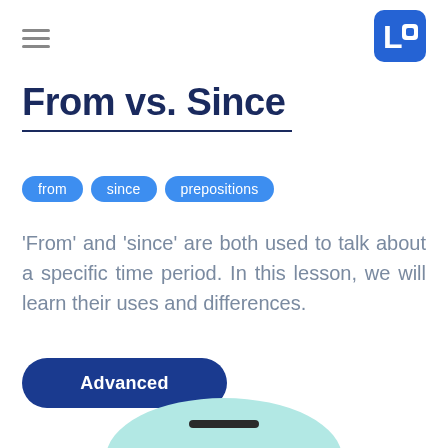From vs. Since
from   since   prepositions
'From' and 'since' are both used to talk about a specific time period. In this lesson, we will learn their uses and differences.
Advanced
[Figure (illustration): Partial illustration at the bottom of the page — a light teal/mint colored dome or arc shape with a small dark horizontal bar in the center, partially cropped.]